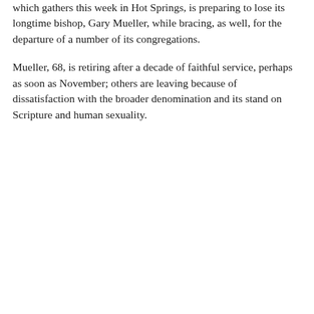which gathers this week in Hot Springs, is preparing to lose its longtime bishop, Gary Mueller, while bracing, as well, for the departure of a number of its congregations.
Mueller, 68, is retiring after a decade of faithful service, perhaps as soon as November; others are leaving because of dissatisfaction with the broader denomination and its stand on Scripture and human sexuality.